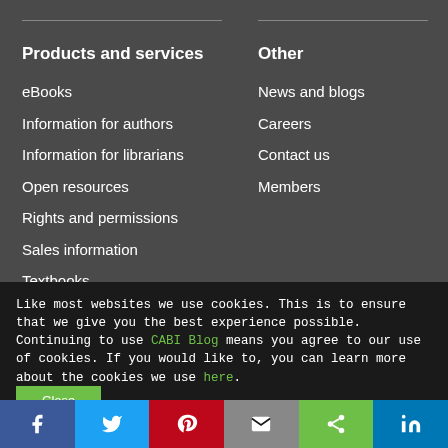Products and services
eBooks
Information for authors
Information for librarians
Open resources
Rights and permissions
Sales information
Textbooks
Other
News and blogs
Careers
Contact us
Members
Like most websites we use cookies. This is to ensure that we give you the best experience possible. Continuing to use CABI Blog means you agree to our use of cookies. If you would like to, you can learn more about the cookies we use here.